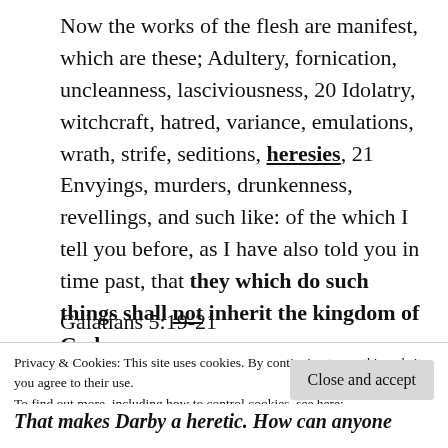Now the works of the flesh are manifest, which are these; Adultery, fornication, uncleanness, lasciviousness, 20 Idolatry, witchcraft, hatred, variance, emulations, wrath, strife, seditions, heresies, 21 Envyings, murders, drunkenness, revellings, and such like: of the which I tell you before, as I have also told you in time past, that they which do such things shall not inherit the kingdom of God.
Galatians 5:19-21
Privacy & Cookies: This site uses cookies. By continuing to use this website, you agree to their use.
To find out more, including how to control cookies, see here: Cookie Policy
Close and accept
That makes Darby a heretic. How can anyone